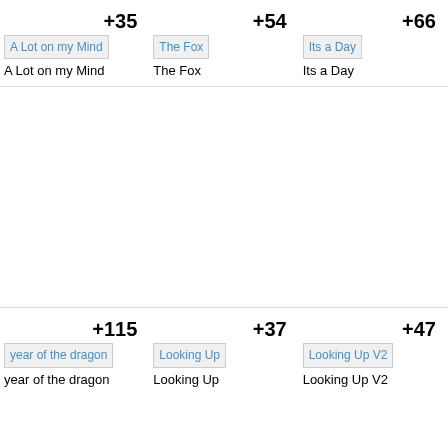+35
[Figure (screenshot): Thumbnail image placeholder labeled 'A Lot on my Mind']
A Lot on my Mind
+54
[Figure (screenshot): Thumbnail image placeholder labeled 'The Fox']
The Fox
+66
[Figure (screenshot): Thumbnail image placeholder labeled 'Its a Day']
Its a Day
+115
[Figure (screenshot): Thumbnail image placeholder labeled 'year of the dragon']
year of the dragon
+37
[Figure (screenshot): Thumbnail image placeholder labeled 'Looking Up']
Looking Up
+47
[Figure (screenshot): Thumbnail image placeholder labeled 'Looking Up V2']
Looking Up V2